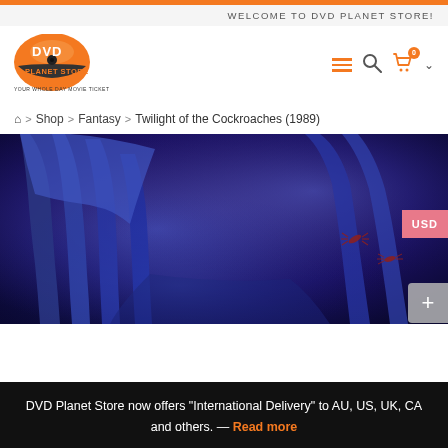WELCOME TO DVD PLANET STORE!
[Figure (logo): DVD Planet Store logo — orange DVD disc graphic with 'DVD PLANET STORE' text and tagline 'YOUR WHOLE DAY MOVIE TICKET']
≡  🔍  🛒 0  ⌵
🏠 > Shop > Fantasy > Twilight of the Cockroaches (1989)
USD
[Figure (photo): Movie still from Twilight of the Cockroaches (1989) showing large blue-tinted hands reaching down toward small cockroach figures on a dark purple/blue background]
DVD Planet Store now offers "International Delivery" to AU, US, UK, CA and others. — Read more